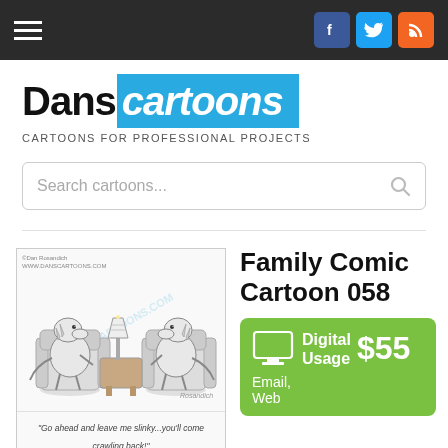Dans cartoons — CARTOONS FOR PROFESSIONAL PROJECTS
Family Comic Cartoon 058
[Figure (illustration): Black and white cartoon of dinosaurs/lizard-like creatures sitting in armchairs in a living room setting with a lamp on a table between them. Caption reads: 'Go ahead and leave me slinky...you'll come crawling back!']
Digital Usage $55 Email, Web